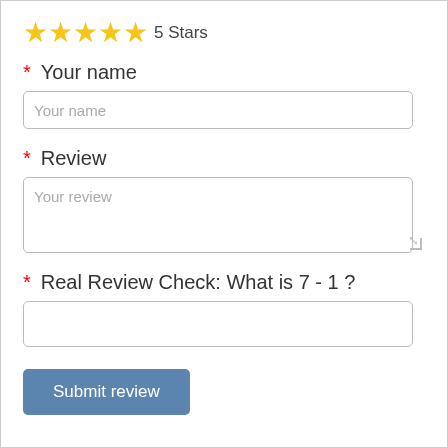[Figure (other): 5 gold star rating icons followed by text '5 Stars']
* Your name
Your name (placeholder in input field)
* Review
Your review (placeholder in textarea)
* Real Review Check: What is 7 - 1 ?
Submit review (button)